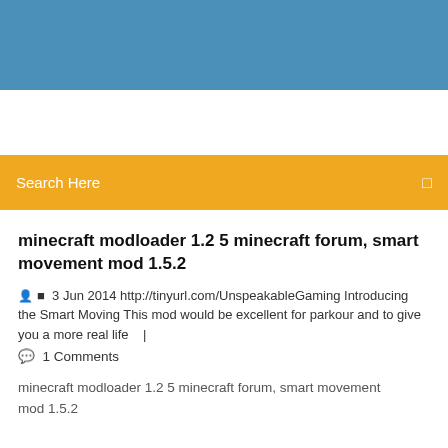[Figure (other): Blue header banner / website header area with sky-like gradient]
Search Here
minecraft modloader 1.2 5 minecraft forum, smart movement mod 1.5.2
3 Jun 2014 http://tinyurl.com/UnspeakableGaming Introducing the Smart Moving This mod would be excellent for parkour and to give you a more real life   |
1 Comments
minecraft modloader 1.2 5 minecraft forum, smart movement mod 1.5.2